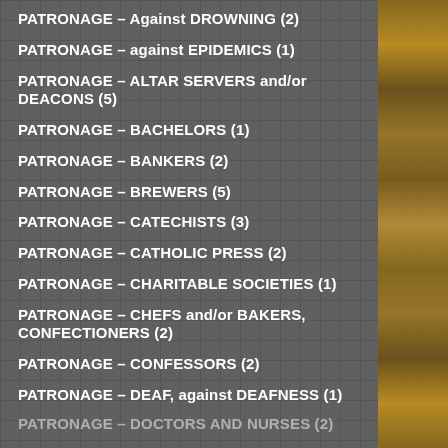PATRONAGE – Against DROWNING (2)
PATRONAGE – against EPIDEMICS (1)
PATRONAGE – ALTAR SERVERS and/or DEACONS (5)
PATRONAGE – BACHELORS (1)
PATRONAGE – BANKERS (2)
PATRONAGE – BREWERS (5)
PATRONAGE – CATECHISTS (3)
PATRONAGE – CATHOLIC PRESS (2)
PATRONAGE – CHARITABLE SOCIETIES (1)
PATRONAGE – CHEFS and/or BAKERS, CONFECTIONERS (2)
PATRONAGE – CONFESSORS (2)
PATRONAGE – DEAF, against DEAFNESS (1)
PATRONAGE – DOCTORS AND NURSES (2)